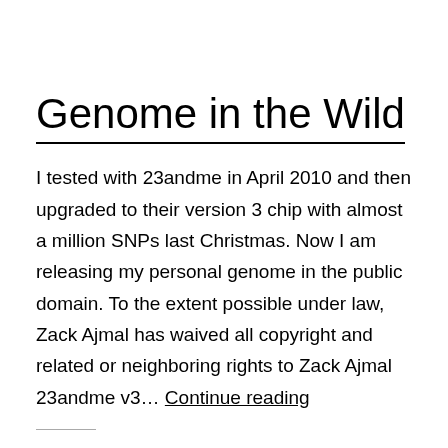Genome in the Wild
I tested with 23andme in April 2010 and then upgraded to their version 3 chip with almost a million SNPs last Christmas. Now I am releasing my personal genome in the public domain. To the extent possible under law, Zack Ajmal has waived all copyright and related or neighboring rights to Zack Ajmal 23andme v3… Continue reading